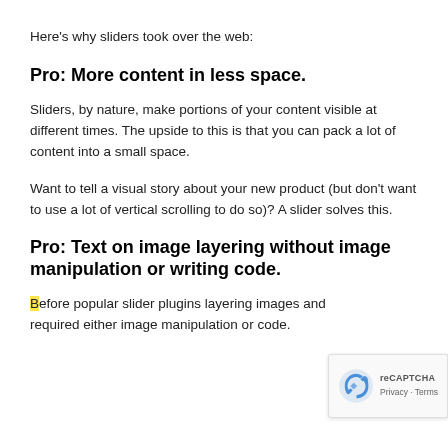Here's why sliders took over the web:
Pro: More content in less space.
Sliders, by nature, make portions of your content visible at different times. The upside to this is that you can pack a lot of content into a small space.
Want to tell a visual story about your new product (but don't want to use a lot of vertical scrolling to do so)? A slider solves this.
Pro: Text on image layering without image manipulation or writing code.
Before popular slider plugins layering images and required either image manipulation or code.